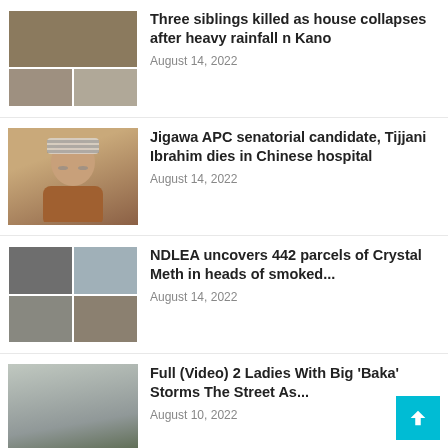[Figure (photo): Collage of collapsed house/building after rainfall in Kano]
Three siblings killed as house collapses after heavy rainfall n Kano
August 14, 2022
[Figure (photo): Portrait of a man wearing a striped hat and glasses]
Jigawa APC senatorial candidate, Tijjani Ibrahim dies in Chinese hospital
August 14, 2022
[Figure (photo): 2x2 photo collage related to NDLEA Crystal Meth seizure]
NDLEA uncovers 442 parcels of Crystal Meth in heads of smoked...
August 14, 2022
[Figure (photo): Two ladies with large behinds walking on the street]
Full (Video) 2 Ladies With Big 'Baka' Storms The Street As...
August 10, 2022